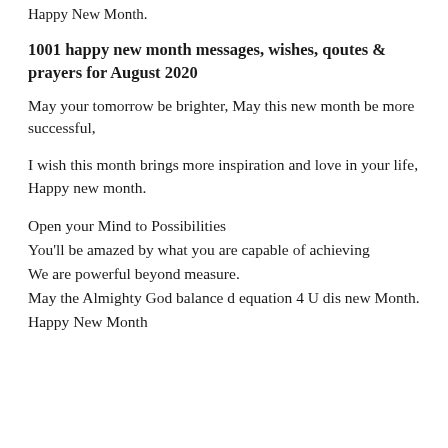Happy New Month.
1001 happy new month messages, wishes, qoutes & prayers for August 2020
May your tomorrow be brighter, May this new month be more successful,
I wish this month brings more inspiration and love in your life, Happy new month.
Open your Mind to Possibilities
You'll be amazed by what you are capable of achieving
We are powerful beyond measure.
May the Almighty God balance d equation 4 U dis new Month.
Happy New Month